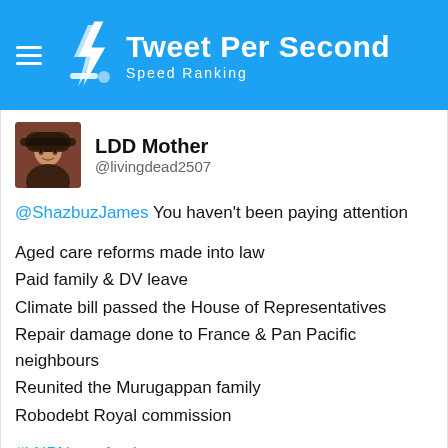Tweet Per Second — Speed Ranking
LDD Mother @livingdead2507
@ShazbuzJames You haven't been paying attention

Aged care reforms made into law
Paid family & DV leave
Climate bill passed the House of Representatives
Repair damage done to France & Pan Pacific neighbours
Reunited the Murugappan family
Robodebt Royal commission

#LNPNeverAgain
#LNPCrooks